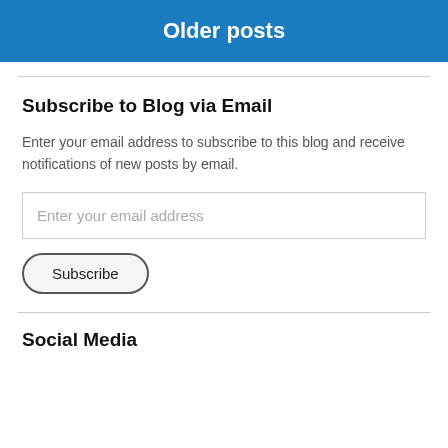Older posts
Subscribe to Blog via Email
Enter your email address to subscribe to this blog and receive notifications of new posts by email.
[Figure (screenshot): Email input field with placeholder text 'Enter your email address']
[Figure (screenshot): Subscribe button with rounded border]
Social Media